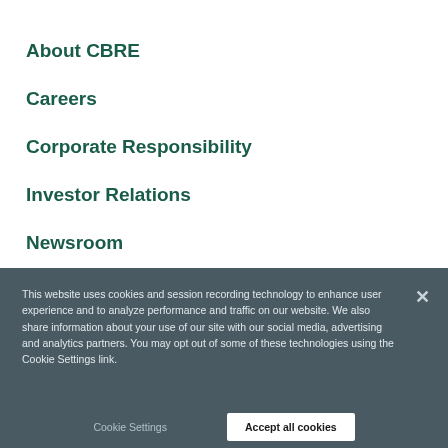About CBRE
Careers
Corporate Responsibility
Investor Relations
Newsroom
This website uses cookies and session recording technology to enhance user experience and to analyze performance and traffic on our website. We also share information about your use of our site with our social media, advertising and analytics partners. You may opt out of some of these technologies using the Cookie Settings link.
Cookie Settings
Accept all cookies